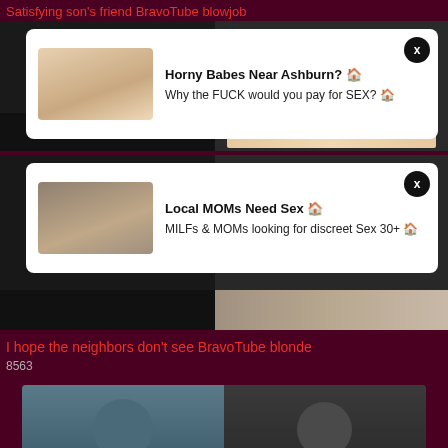Satisfying son's friend BravoTube blowjob
[Figure (screenshot): Video thumbnail with ad overlay: Horny Babes Near Ashburn? Why the FUCK would you pay for SEX?]
[Figure (screenshot): Video thumbnail with ad overlay: Local MOMs Need Sex - MILFs & MOMs looking for discreet Sex 30+, duration 2:03]
I hope the neighbors don't see BravoTube blonde
8563
[Figure (screenshot): Video thumbnail showing two people, one in medical mask and blue scrubs]